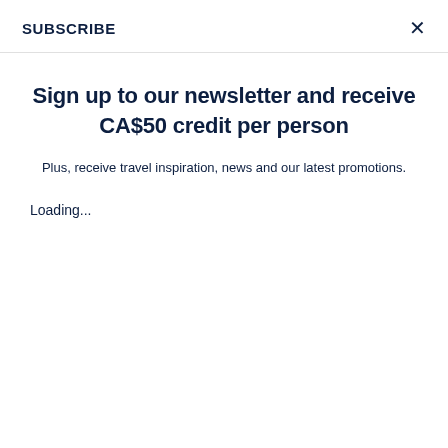SUBSCRIBE
Sign up to our newsletter and receive CA$50 credit per person
Plus, receive travel inspiration, news and our latest promotions.
Loading...